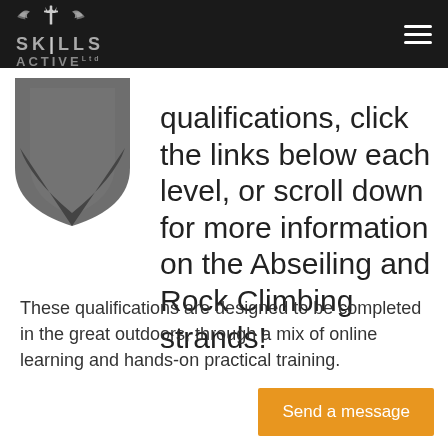SKILLS ACTIVE
[Figure (logo): Skills Active logo with crown/wings emblem and shield graphic in grey]
qualifications, click the links below each level, or scroll down for more information on the Abseiling and Rock Climbing strands!
These qualifications are designed to be completed in the great outdoors, through a mix of online learning and hands-on practical training.
Send a message